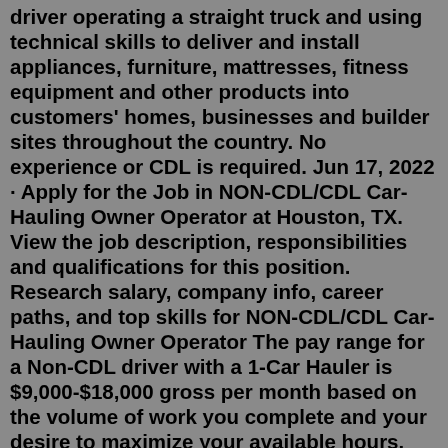driver operating a straight truck and using technical skills to deliver and install appliances, furniture, mattresses, fitness equipment and other products into customers' homes, businesses and builder sites throughout the country. No experience or CDL is required. Jun 17, 2022 · Apply for the Job in NON-CDL/CDL Car-Hauling Owner Operator at Houston, TX. View the job description, responsibilities and qualifications for this position. Research salary, company info, career paths, and top skills for NON-CDL/CDL Car-Hauling Owner Operator The pay range for a Non-CDL driver with a 1-Car Hauler is $9,000-$18,000 gross per month based on the volume of work you complete and your desire to maximize your available hours. CDL A Local Dry Van Driver in Hebron, KY. CEVA Logistics is hiring a CDL A Driver in Hebron, KY. This is a day shift position Monday – Frida... Non-CDL Local Box Truck Owner Operator- Auburn, WA. CEVA Logistics is seeking Local Box Truck Owners in Auburn, WA. We are looking for an Owner Operator... Non-CDL Local Box